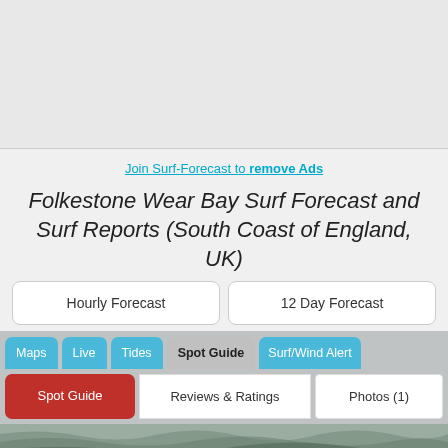[Figure (photo): Gray advertisement placeholder area at top of page]
Join Surf-Forecast to remove Ads
Folkestone Wear Bay Surf Forecast and Surf Reports (South Coast of England, UK)
Hourly Forecast
12 Day Forecast
Maps
Live
Tides
Spot Guide
Surf/Wind Alert
Spot Guide
Reviews & Ratings
Photos (1)
[Figure (photo): Beach/ocean wave scene at the bottom of the page]